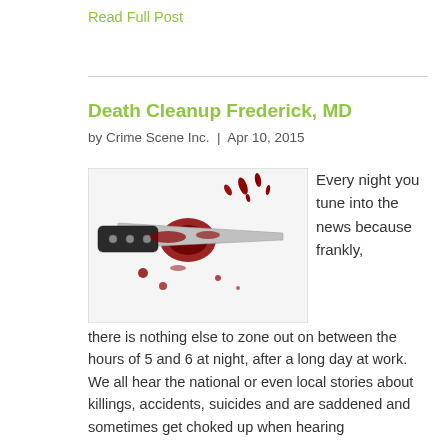Read Full Post
Death Cleanup Frederick, MD
by Crime Scene Inc.  |  Apr 10, 2015
[Figure (photo): A bloody knife with blood splatter on a white background]
Every night you tune into the news because frankly, there is nothing else to zone out on between the hours of 5 and 6 at night, after a long day at work. We all hear the national or even local stories about killings, accidents, suicides and are saddened and sometimes get choked up when hearing